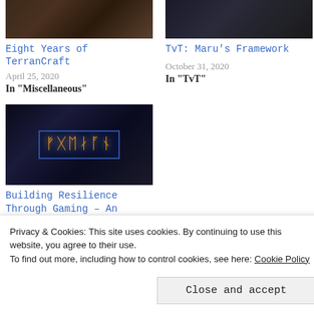[Figure (photo): Dark fantasy/gaming screenshot showing creatures, top-left article thumbnail]
Eight Years of TerranCraft
April 25, 2020
In "Miscellaneous"
[Figure (photo): Person holding something, top-right article thumbnail]
TvT: Maru’s Framework
October 31, 2020
In "TvT"
[Figure (photo): Dark blue background with glowing orange/yellow alien glyphs]
Building Resilience Through Gaming – An Interview with Megan
Privacy & Cookies: This site uses cookies. By continuing to use this website, you agree to their use.
To find out more, including how to control cookies, see here: Cookie Policy
Close and accept